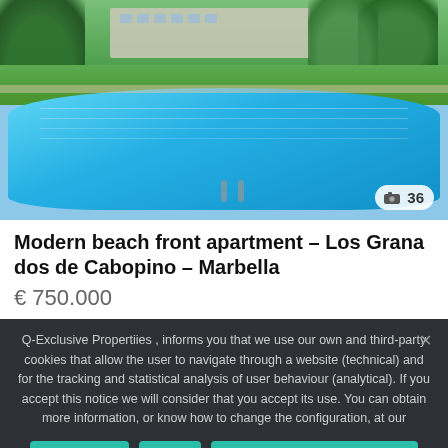[Figure (photo): Outdoor swimming pool at a residential complex with green trees and buildings in the background, blue water, sunny day. Photo counter showing 36 images.]
Modern beach front apartment – Los Granados de Cabopino – Marbella
€ 750.000
Q-Exclusive Propertiies , informs you that we use our own and third-party cookies that allow the user to navigate through a website (technical) and for the tracking and statistical analysis of user behaviour (analytical). If you accept this notice we will consider that you accept its use. You can obtain more information, or know how to change the configuration, at our
I ACCEPT
No
Privacy and Cookies Policy